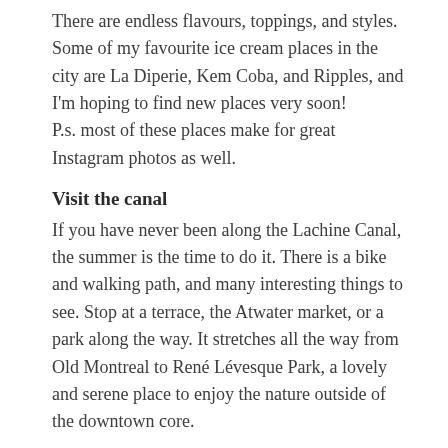There are endless flavours, toppings, and styles. Some of my favourite ice cream places in the city are La Diperie, Kem Coba, and Ripples, and I'm hoping to find new places very soon!
P.s. most of these places make for great Instagram photos as well.
Visit the canal
If you have never been along the Lachine Canal, the summer is the time to do it. There is a bike and walking path, and many interesting things to see. Stop at a terrace, the Atwater market, or a park along the way. It stretches all the way from Old Montreal to René Lévesque Park, a lovely and serene place to enjoy the nature outside of the downtown core.
Working from a park
For those of us who aren't as lucky and still need to get some serious work done over the summer months, I